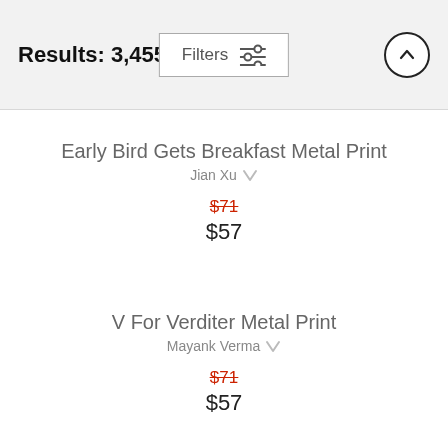Results: 3,455
Early Bird Gets Breakfast Metal Print
Jian Xu
$71 (strikethrough), $57
V For Verditer Metal Print
Mayank Verma
$71 (strikethrough), $57